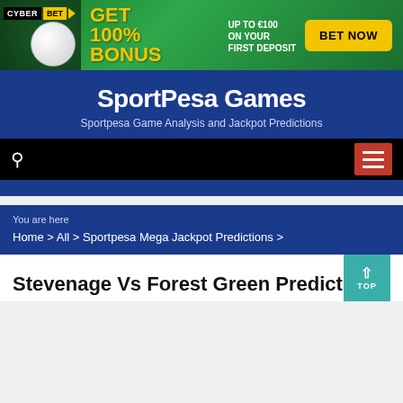[Figure (infographic): CyberBet advertisement banner: GET 100% BONUS UP TO €100 ON YOUR FIRST DEPOSIT with BET NOW button, green background with soccer ball]
SportPesa Games
Sportpesa Game Analysis and Jackpot Predictions
[Figure (screenshot): Navigation bar with search icon on left and red hamburger menu button on right, black background]
You are here
Home > All > Sportpesa Mega Jackpot Predictions >
Stevenage Vs Forest Green Prediction: